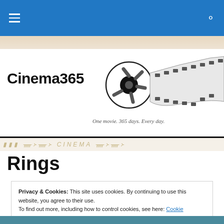Navigation bar with hamburger menu and search icon
[Figure (logo): Cinema365 logo with film reel and strip graphic. Text reads 'Cinema365' with tagline 'One movie. 365 days. Every day.']
Rings
Privacy & Cookies: This site uses cookies. By continuing to use this website, you agree to their use.
To find out more, including how to control cookies, see here: Cookie Policy
Close and accept
[Figure (photo): Teal/blue colored movie scene at bottom of page]